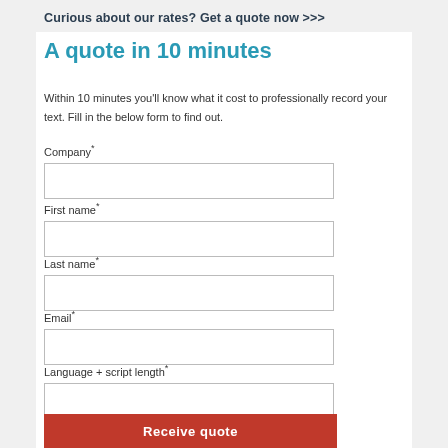Curious about our rates? Get a quote now >>>
A quote in 10 minutes
Within 10 minutes you'll know what it cost to professionally record your text. Fill in the below form to find out.
Company*
First name*
Last name*
Email*
Language + script length*
Receive quote